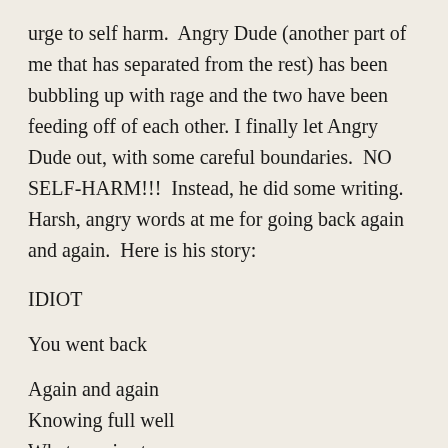urge to self harm.  Angry Dude (another part of me that has separated from the rest) has been bubbling up with rage and the two have been feeding off of each other. I finally let Angry Dude out, with some careful boundaries.  NO SELF-HARM!!!  Instead, he did some writing.  Harsh, angry words at me for going back again and again.  Here is his story:
IDIOT
You went back
Again and again
Knowing full well
What was in store